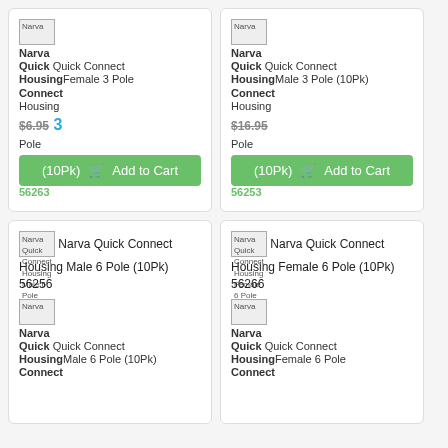[Figure (screenshot): Product card grid showing Narva Quick Connect Housing products for sale with images, prices, and Add to Cart buttons]
Narva Quick Connect Housing Female 3 Pole (10Pk) - $6.95 - Add to Cart - 56263
Narva Quick Connect Housing Male 3 Pole (10Pk) - $16.95 - Add to Cart - 56253
Narva Quick Connect Housing Male 6 Pole (10Pk) 56256
Narva Quick Connect Housing Female 6 Pole (10Pk) 56266